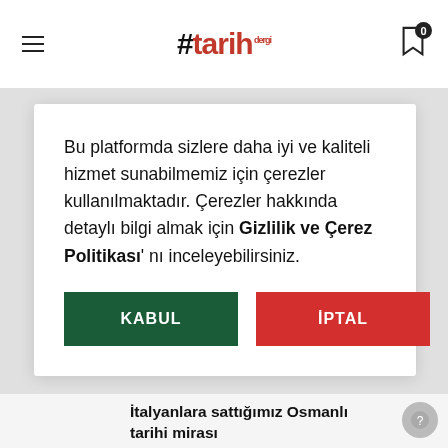#tarih dergi
Bu platformda sizlere daha iyi ve kaliteli hizmet sunabilmemiz için çerezler kullanılmaktadır. Çerezler hakkında detaylı bilgi almak için Gizlilik ve Çerez Politikası' nı inceleyebilirsiniz.
KABUL
İPTAL
İtalyanlara sattığımız Osmanlı tarihi mirası